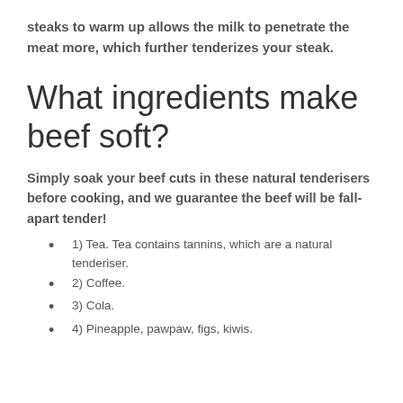steaks to warm up allows the milk to penetrate the meat more, which further tenderizes your steak.
What ingredients make beef soft?
Simply soak your beef cuts in these natural tenderisers before cooking, and we guarantee the beef will be fall-apart tender!
1) Tea. Tea contains tannins, which are a natural tenderiser.
2) Coffee.
3) Cola.
4) Pineapple, pawpaw, figs, kiwis.